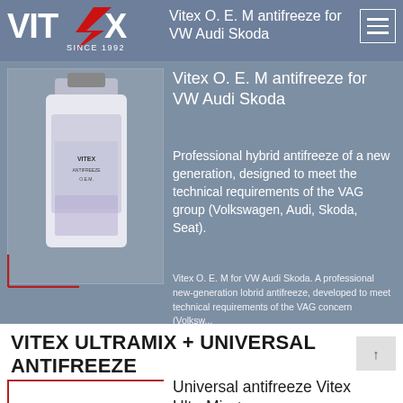[Figure (logo): Vitex logo with red lightning bolt and 'SINCE 1992' text on blue-grey banner]
Vitex O. E. M antifreeze for VW Audi Skoda
Professional hybrid antifreeze of a new generation, designed to meet the technical requirements of the VAG group (Volkswagen, Audi, Skoda, Seat).
Vitex O. E. M for VW Audi Skoda. A professional new-generation lobrid antifreeze, developed to meet technical requirements of the VAG concern (Volksw...
[Figure (photo): White 4L bottle of Vitex O.E.M antifreeze]
VITEX ULTRAMIX + UNIVERSAL ANTIFREEZE
Universal antifreeze Vitex UltraMix +